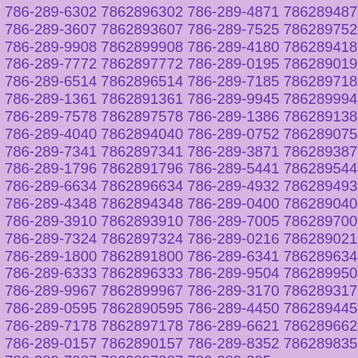786-289-6302 7862896302 786-289-4871 7862894871 786-289-3607 7862893607 786-289-7525 7862897525 786-289-9908 7862899908 786-289-4180 7862894180 786-289-7772 7862897772 786-289-0195 7862890195 786-289-6514 7862896514 786-289-7185 7862897185 786-289-1361 7862891361 786-289-9945 7862899945 786-289-7578 7862897578 786-289-1386 7862891386 786-289-4040 7862894040 786-289-0752 7862890752 786-289-7341 7862897341 786-289-3871 7862893871 786-289-1796 7862891796 786-289-5441 7862895441 786-289-6634 7862896634 786-289-4932 7862894932 786-289-4348 7862894348 786-289-0400 7862890400 786-289-3910 7862893910 786-289-7005 7862897005 786-289-7324 7862897324 786-289-0216 7862890216 786-289-1800 7862891800 786-289-6341 7862896341 786-289-6333 7862896333 786-289-9504 7862899504 786-289-9967 7862899967 786-289-3170 7862893170 786-289-0595 7862890595 786-289-4450 7862894450 786-289-7178 7862897178 786-289-6621 7862896621 786-289-0157 7862890157 786-289-8352 7862898352 786-289-7087 7862897087 786-289-395...